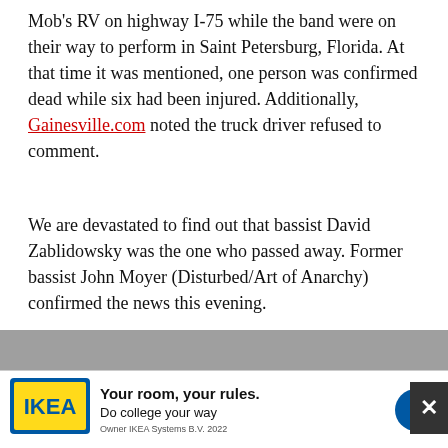Mob's RV on highway I-75 while the band were on their way to perform in Saint Petersburg, Florida. At that time it was mentioned, one person was confirmed dead while six had been injured. Additionally, Gainesville.com noted the truck driver refused to comment.
We are devastated to find out that bassist David Zablidowsky was the one who passed away. Former bassist John Moyer (Disturbed/Art of Anarchy) confirmed the news this evening.
Dave Z. joined Adrenaline Mob this year and formerly toured with Trans-Siberian Orchestra, Joan Jett and the Blackhearts, and Jeff Scott Soto. He also played in the NYC club band ZO2 and was featured in the IFC comedy series, Z Rock.
The following messages have been shared by Moyer, Paul Zablidowsky, TSO, and Jeff Scott Soto:
“This talented, humble, sweet soul left us today way too soon. If you saw him perform you were lucky. If you knew him you were blessed. RIP David Z. You were a beast on stage and it was my pleasure to have shared it with you on you…
[Figure (other): IKEA advertisement banner: yellow IKEA logo on blue background, text 'Your room, your rules. Do college your way', small print 'Owner IKEA Systems B.V. 2022', blue play button circle on right. Close X button overlay on right edge.]